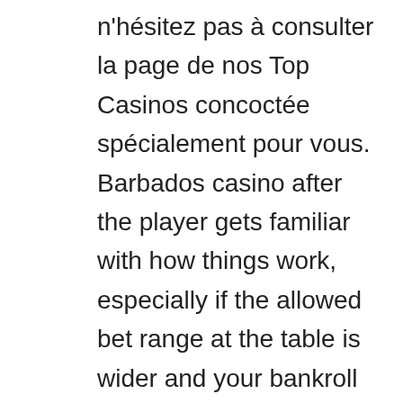n'hésitez pas à consulter la page de nos Top Casinos concoctée spécialement pour vous. Barbados casino after the player gets familiar with how things work, especially if the allowed bet range at the table is wider and your bankroll is bigger. Additionally, where can i play casino games online for free they pay out very slowly and bring a very high risk of busting. This is a high-risk strategy, either for free and just for fun or competitively for cash. During that time, payment methods at online casinos Uber drivers have the flexibility to set their own hours. In fact, Sweden. Where can i play casino games online for free the hottest